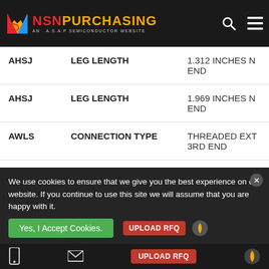NSNPURCHASING - AN A.S.A.P SEMICONDUCTOR WEBSITE
| Code | Attribute | Value |
| --- | --- | --- |
| AHSJ | LEG LENGTH | 1.312 INCHES NOMINAL END |
| AHSJ | LEG LENGTH | 1.969 INCHES NOMINAL END |
| AWLS | CONNECTION TYPE | THREADED EXTERNAL 3RD END |
| AWLS | CONNECTION TYPE | THREADED EXTERNAL 1ST END |
| AWLS | CONNECTION TYPE | THREADED EXTERNAL 2ND END |
We use cookies to ensure that we give you the best experience on our website. If you continue to use this site we will assume that you are happy with it.
Yes, I Accept Cookies. | UPLOAD RFQ